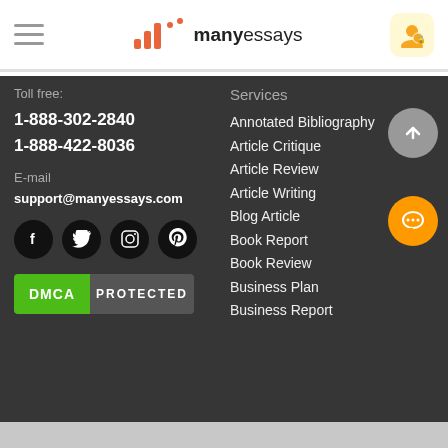[Figure (logo): ManyEssays logo with orange bar chart icon and text 'manyessays' in dark/orange]
Toll free:
1-888-302-2840
1-888-422-8036
E-mail
support@manyessays.com
[Figure (illustration): Social media icons: Facebook, Twitter, Instagram, Pinterest in black circles]
[Figure (other): DMCA PROTECTED badge]
Services
Annotated Bibliography
Article Critique
Article Review
Article Writing
Blog Article
Book Report
Book Review
Business Plan
Business Report